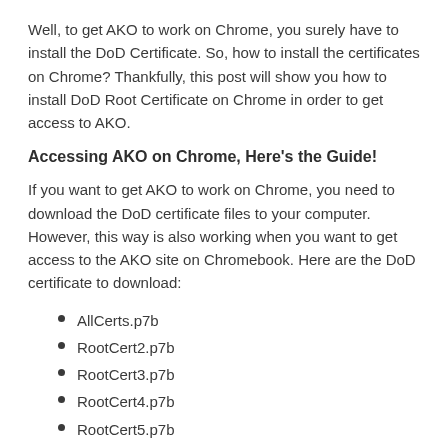Well, to get AKO to work on Chrome, you surely have to install the DoD Certificate. So, how to install the certificates on Chrome? Thankfully, this post will show you how to install DoD Root Certificate on Chrome in order to get access to AKO.
Accessing AKO on Chrome, Here's the Guide!
If you want to get AKO to work on Chrome, you need to download the DoD certificate files to your computer. However, this way is also working when you want to get access to the AKO site on Chromebook. Here are the DoD certificate to download:
AllCerts.p7b
RootCert2.p7b
RootCert3.p7b
RootCert4.p7b
RootCert5.p7b
To install those certificates on Chrome, you need to choose the 3 dots located top right of the web browser, then click on the Settings.
Scroll down to Privacy and security and choose Security.
Then, you also need to scroll down and click on the 'Manage